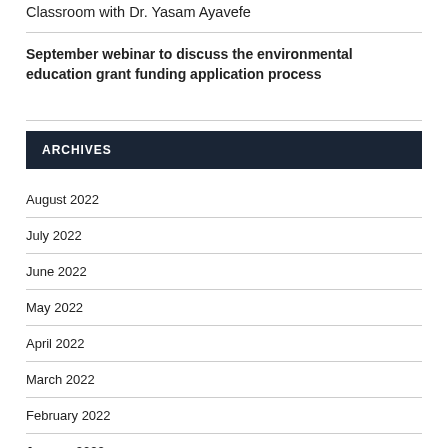Classroom with Dr. Yasam Ayavefe
September webinar to discuss the environmental education grant funding application process
ARCHIVES
August 2022
July 2022
June 2022
May 2022
April 2022
March 2022
February 2022
January 2022